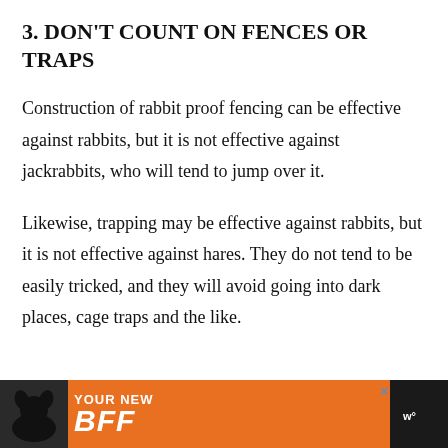3. DON'T COUNT ON FENCES OR TRAPS
Construction of rabbit proof fencing can be effective against rabbits, but it is not effective against jackrabbits, who will tend to jump over it.
Likewise, trapping may be effective against rabbits, but it is not effective against hares. They do not tend to be easily tricked, and they will avoid going into dark places, cage traps and the like.
[Figure (other): Advertisement banner at the bottom of the page showing a dog silhouette and the text 'YOUR NEW BFF' on an orange background]